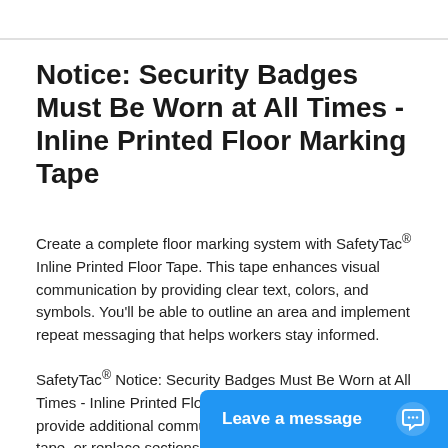Notice: Security Badges Must Be Worn at All Times - Inline Printed Floor Marking Tape
Create a complete floor marking system with SafetyTac® Inline Printed Floor Tape. This tape enhances visual communication by providing clear text, colors, and symbols. You'll be able to outline an area and implement repeat messaging that helps workers stay informed.
SafetyTac® Notice: Security Badges Must Be Worn at All Times - Inline Printed Floor Marking Tape can be used to provide additional communication alongside traditional floor tape, or replace sections of standard marking entirely. Inline tape can also be cut into pieces so you can install the same notification several times throughout your facility. Its resistant m... industrial environments, an...